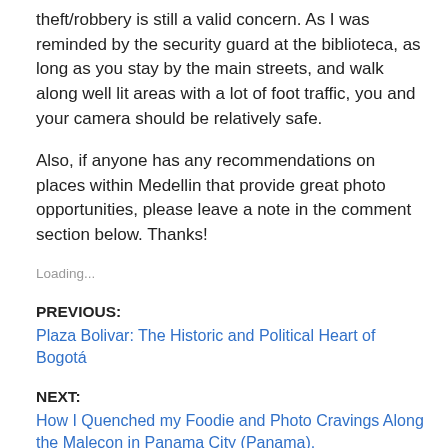theft/robbery is still a valid concern.  As I was reminded by the security guard at the biblioteca, as long as you stay by the main streets, and walk along well lit areas with a lot of foot traffic, you and your camera should be relatively safe.
Also, if anyone has any recommendations on places within Medellin that provide great photo opportunities, please leave a note in the comment section below.  Thanks!
Loading...
PREVIOUS:
Plaza Bolivar: The Historic and Political Heart of Bogotá
NEXT:
How I Quenched my Foodie and Photo Cravings Along the Malecon in Panama City (Panama).